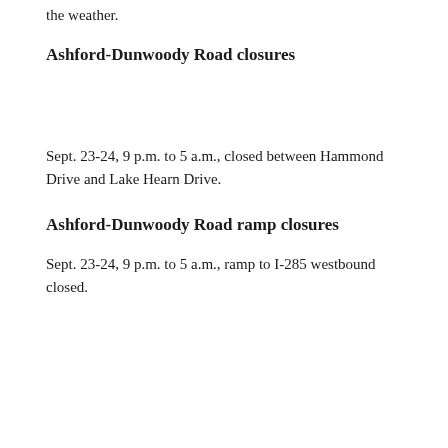the weather.
Ashford-Dunwoody Road closures
Sept. 23-24, 9 p.m. to 5 a.m., closed between Hammond Drive and Lake Hearn Drive.
Ashford-Dunwoody Road ramp closures
Sept. 23-24, 9 p.m. to 5 a.m., ramp to I-285 westbound closed.